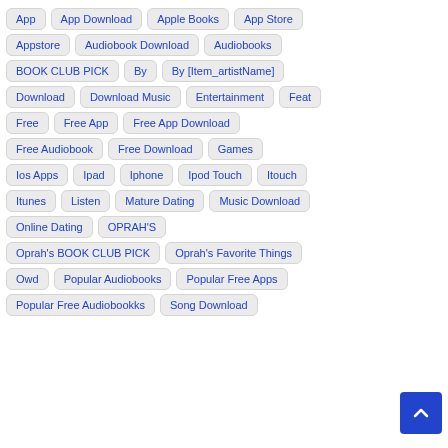App
App Download
Apple Books
App Store
Appstore
Audiobook Download
Audiobooks
BOOK CLUB PICK
By
By [Item_artistName]
Download
Download Music
Entertainment
Feat
Free
Free App
Free App Download
Free Audiobook
Free Download
Games
Ios Apps
Ipad
Iphone
Ipod Touch
Itouch
Itunes
Listen
Mature Dating
Music Download
Online Dating
OPRAH'S
Oprah's BOOK CLUB PICK
Oprah's Favorite Things
Owd
Popular Audiobooks
Popular Free Apps
Popular Free Audiobookks
Song Download